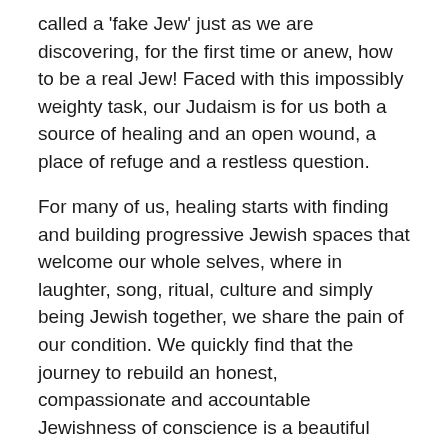called a 'fake Jew' just as we are discovering, for the first time or anew, how to be a real Jew! Faced with this impossibly weighty task, our Judaism is for us both a source of healing and an open wound, a place of refuge and a restless question.
For many of us, healing starts with finding and building progressive Jewish spaces that welcome our whole selves, where in laughter, song, ritual, culture and simply being Jewish together, we share the pain of our condition. We quickly find that the journey to rebuild an honest, compassionate and accountable Jewishness of conscience is a beautiful struggle- one that befits a people for whom being klal Yisrael itself is a struggle, a wrestling with G-d!
Crafting our Ritual